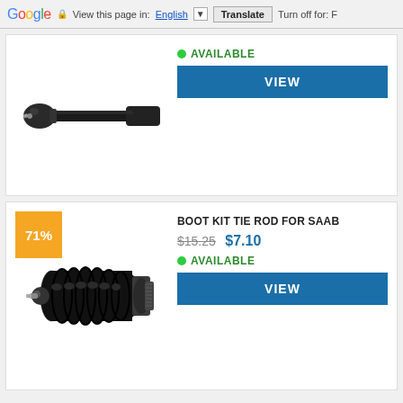Google — View this page in: English | Translate | Turn off for: F
[Figure (photo): Tie rod end part, black metal, elongated rod with ball joint on left end]
● AVAILABLE
VIEW
71%
BOOT KIT TIE ROD FOR SAAB
$15.25  $7.10
● AVAILABLE
VIEW
[Figure (photo): Boot kit tie rod, black rubber accordion bellows boot with metal fitting on right end]